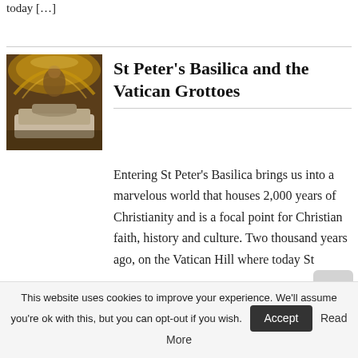today […]
St Peter's Basilica and the Vatican Grottoes
[Figure (photo): Interior photo of Vatican Grottoes showing golden mosaic ceiling, religious imagery, and stone tomb or effigy in the foreground]
Entering St Peter's Basilica brings us into a marvelous world that houses 2,000 years of Christianity and is a focal point for Christian faith, history and culture. Two thousand years ago, on the Vatican Hill where today St
This website uses cookies to improve your experience. We'll assume you're ok with this, but you can opt-out if you wish.  Accept  Read More